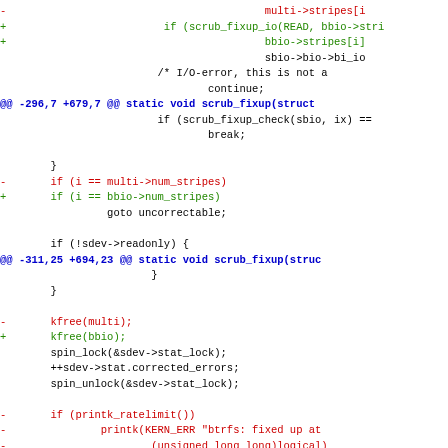[Figure (screenshot): A unified diff / patch file showing code changes in C, with red lines (deletions prefixed with -), green lines (additions prefixed with +), blue hunk headers (@@), and black context lines. The code relates to btrfs scrub fixup functionality involving multi->stripes, bbio->stripes, scrub_fixup_io, scrub_fixup_check, kfree, spin_lock, printk_ratelimit and printk_ratelimited calls.]